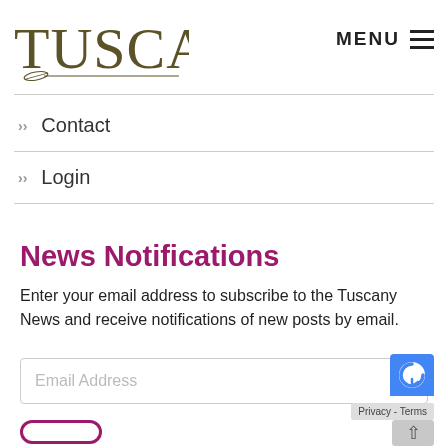[Figure (logo): Tuscany logo with stylized serif text and decorative underline]
Contact
Login
News Notifications
Enter your email address to subscribe to the Tuscany News and receive notifications of new posts by email.
Email Address